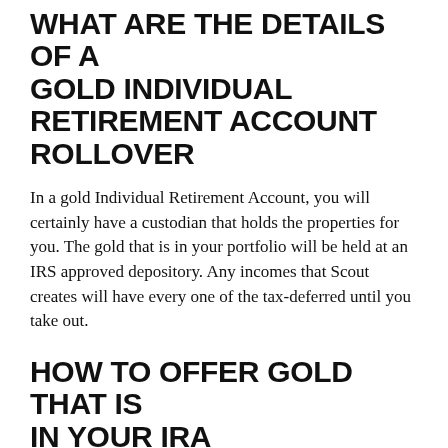WHAT ARE THE DETAILS OF A GOLD INDIVIDUAL RETIREMENT ACCOUNT ROLLOVER
In a gold Individual Retirement Account, you will certainly have a custodian that holds the properties for you. The gold that is in your portfolio will be held at an IRS approved depository. Any incomes that Scout creates will have every one of the tax-deferred until you take out.
HOW TO OFFER GOLD THAT IS IN YOUR IRA
Commonly the procedure to liquidate the properties